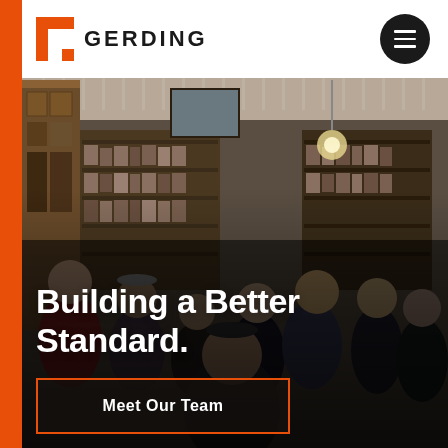[Figure (logo): Gerding company logo with orange G icon and GERDING wordmark in black]
[Figure (photo): Group of men gathered indoors in what appears to be a rustic venue or brewery, listening to a presentation, with shelving with boxes in the background]
Building a Better Standard.
Meet Our Team